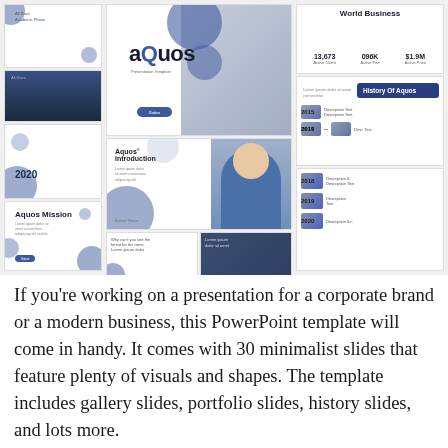[Figure (screenshot): A collage of presentation slide thumbnails from the 'aQuos' PowerPoint template, showing various slides including a cover slide with 'aQuos' branding, an introduction slide, a mission slide titled 'Aquos Mission', a world business statistics slide, a 'History Of Aquos' timeline slide, and other slides with blue circle design elements, photos of people, and infographic layouts.]
If you're working on a presentation for a corporate brand or a modern business, this PowerPoint template will come in handy. It comes with 30 minimalist slides that feature plenty of visuals and shapes. The template includes gallery slides, portfolio slides, history slides, and lots more.